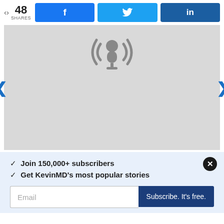48 SHARES
[Figure (screenshot): Social share buttons: Facebook (f icon), Twitter (bird icon), LinkedIn (in icon)]
[Figure (illustration): Podcast/audio player embed area with gray background and podcast microphone icon in the center]
✓ Join 150,000+ subscribers
✓ Get KevinMD's most popular stories
Email input and Subscribe. It's free. button